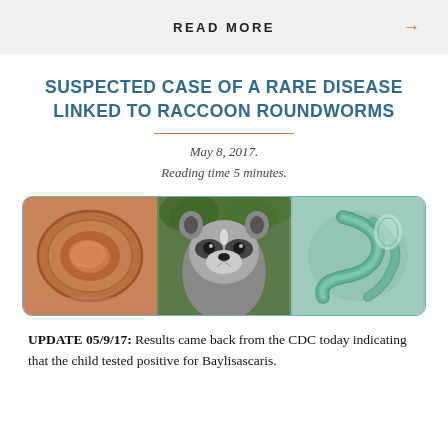READ MORE →
SUSPECTED CASE OF A RARE DISEASE LINKED TO RACCOON ROUNDWORMS
May 8, 2017.
Reading time 5 minutes.
[Figure (photo): Three-panel image: left panel shows microscopy image of a roundworm egg (orange/brown), center panel shows a raccoon face close-up, right panel shows microscopy image of a roundworm larva (green/teal).]
UPDATE 05/9/17: Results came back from the CDC today indicating that the child tested positive for Baylisascaris.